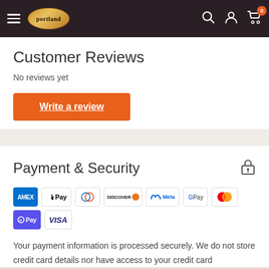Portland — navigation bar with hamburger menu, logo, search, account, and cart icons
Customer Reviews
No reviews yet
Write a review
Payment & Security
[Figure (logo): Payment method icons: AMEX, Apple Pay, Diners Club, Discover, Meta Pay, Google Pay, Mastercard, OPay, Visa]
Your payment information is processed securely. We do not store credit card details nor have access to your credit card information.